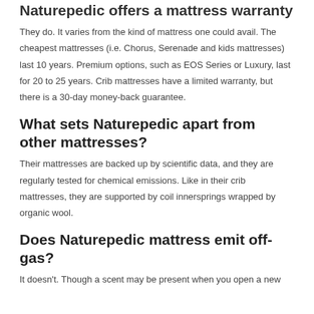Naturepedic offers a mattress warranty
They do. It varies from the kind of mattress one could avail. The cheapest mattresses (i.e. Chorus, Serenade and kids mattresses) last 10 years. Premium options, such as EOS Series or Luxury, last for 20 to 25 years. Crib mattresses have a limited warranty, but there is a 30-day money-back guarantee.
What sets Naturepedic apart from other mattresses?
Their mattresses are backed up by scientific data, and they are regularly tested for chemical emissions. Like in their crib mattresses, they are supported by coil innersprings wrapped by organic wool.
Does Naturepedic mattress emit off-gas?
It doesn't. Though a scent may be present when you open a new